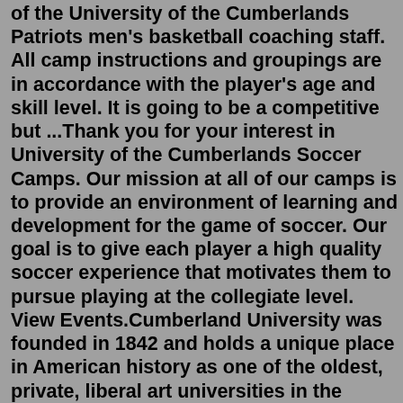of the University of the Cumberlands Patriots men's basketball coaching staff. All camp instructions and groupings are in accordance with the player's age and skill level. It is going to be a competitive but ...Thank you for your interest in University of the Cumberlands Soccer Camps. Our mission at all of our camps is to provide an environment of learning and development for the game of soccer. Our goal is to give each player a high quality soccer experience that motivates them to pursue playing at the collegiate level. View Events.Cumberland University was founded in 1842 and holds a unique place in American history as one of the oldest, private, liberal art universities in the South. Now recognized as one of the fastest-growing liberal arts universities in Tennessee, CU focuses on helping students prepare to launch meaningful careers, pursue their passions, and make the ... SOAR JULY 16, 2022. Saturday, July 16, 2022 at 10:00 AM until 2:00 PM Eastern Daylight Time. University of the Cumberlands 816 Walnut St Williamsburg, KY 40769 United States (approximate)